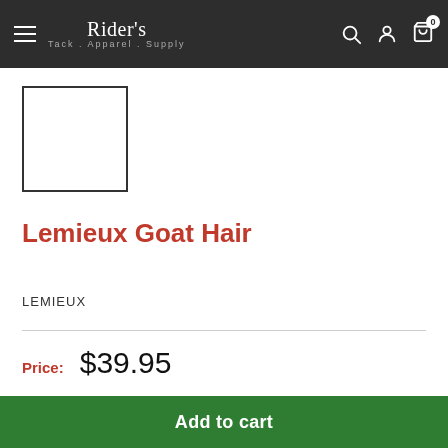Rider's Tack . Apparel . Supply
[Figure (photo): Product image placeholder — empty white square with dark border]
Lemieux Goat Hair
LEMIEUX
Price: $39.95
Quantity: 1